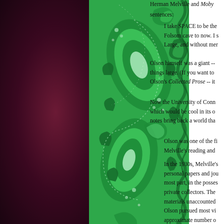[Figure (illustration): Green ornate paisley fabric or wallpaper pattern with swirling botanical motifs, occupying the left portion of the page. Dark maroon/purple background on the far left.]
Herman Melville and Moby sentences:
I take SPACE to be the Folsom cave to now. I s Large, and without mer
Olson himself was a giant -- things large. (If you want to Olson's Collected Prose -- it
Now the University of Conn which would be cool in its o notes bring back a world tha
Olson was one of the fi Melville's reading and
In the 1930s, Melville's personal papers and jou most part, in the posses private collectors. The materials unaccounted Olson pursued most vi approximate number o Brooklyn dealer in 189 had f i d t t i